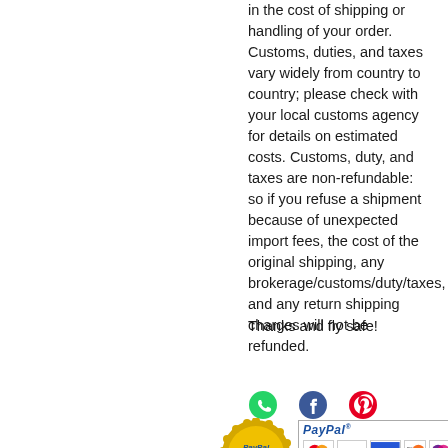in the cost of shipping or handling of your order. Customs, duties, and taxes vary widely from country to country; please check with your local customs agency for details on estimated costs. Customs, duty, and taxes are non-refundable: so if you refuse a shipment because of unexpected import fees, the cost of the original shipping, any brokerage/customs/duty/taxes, and any return shipping charges will not be refunded.
Thanks and fly safe!
[Figure (infographic): Social media icons: WhatsApp (green), Facebook (dark blue), Pinterest (red)]
[Figure (infographic): PayPal Verified gold seal badge on left; PayPal payment methods banner on right showing PayPal logo and card icons: MasterCard, Visa, Amex, Discover, and Visa Electron]